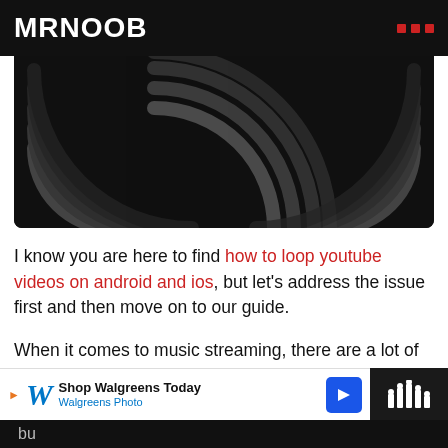MRNOOB
[Figure (screenshot): Dark background with concentric arc/radar wave graphic in gray tones]
I know you are here to find how to loop youtube videos on android and ios, but let’s address the issue first and then move on to our guide.
When it comes to music streaming, there are a lot of options to choose from. The most popular are Spotify and youtube music out of which my choice is youtube music. Youtube music not only gives you an option to listen to officially released music but...
[Figure (screenshot): Walgreens advertisement banner: Shop Walgreens Today, Walgreens Photo]